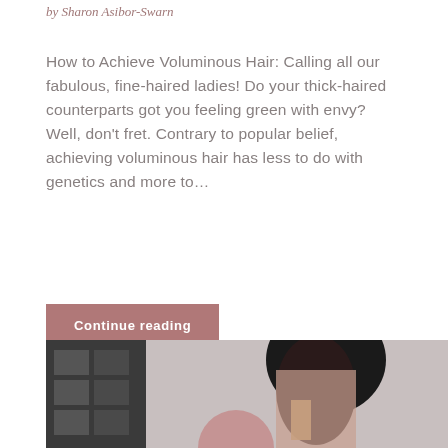by Sharon Asibor-Swarn
How to Achieve Voluminous Hair: Calling all our fabulous, fine-haired ladies! Do your thick-haired counterparts got you feeling green with envy? Well, don’t fret. Contrary to popular belief, achieving voluminous hair has less to do with genetics and more to...
Continue reading
[Figure (photo): A woman with curly dark hair holding something up near her face, with a dark-toned room/wall in the background, alongside a chat widget overlay reading 'Chat with us']